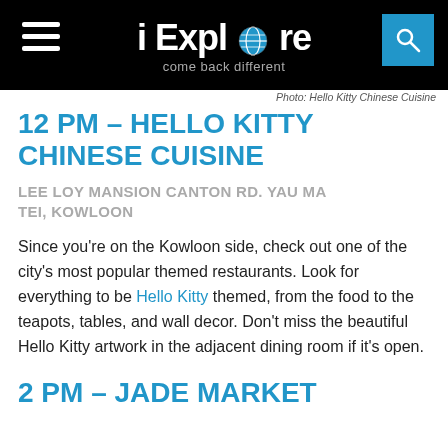iExplore — come back different
Photo: Hello Kitty Chinese Cuisine
12 PM – HELLO KITTY CHINESE CUISINE
LEE LOY MANSION CANTON RD. YAU MA TEI, KOWLOON
Since you're on the Kowloon side, check out one of the city's most popular themed restaurants. Look for everything to be Hello Kitty themed, from the food to the teapots, tables, and wall decor. Don't miss the beautiful Hello Kitty artwork in the adjacent dining room if it's open.
2 PM – JADE MARKET